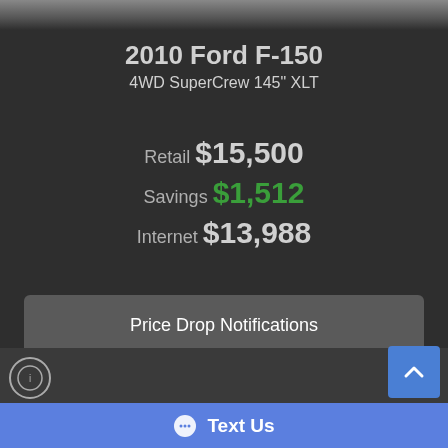[Figure (photo): Top strip showing partial photo of vehicle, dark gray gradient]
2010 Ford F-150 4WD SuperCrew 145" XLT
Retail $15,500
Savings $1,512
Internet $13,988
Price Drop Notifications
812-477-6433
Text Us